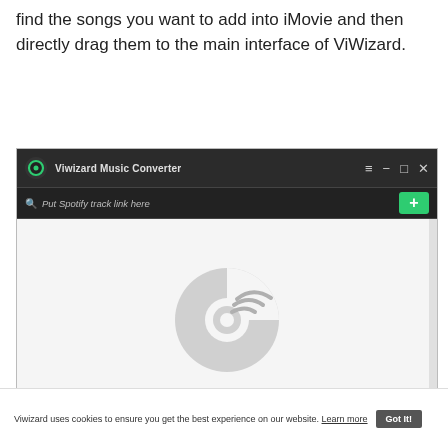find the songs you want to add into iMovie and then directly drag them to the main interface of ViWizard.
[Figure (screenshot): Screenshot of ViWizard Music Converter application window with a dark title bar showing the app logo and name, a search bar reading 'Put Spotify track link here' with a green '+' button, and an empty content area displaying a grey music/disc icon.]
Viwizard uses cookies to ensure you get the best experience on our website. Learn more Got It!